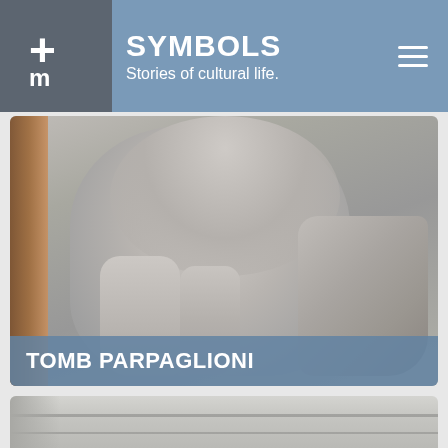SYMBOLS - Stories of cultural life.
[Figure (photo): Close-up photograph of a marble or stone tomb sculpture depicting a dynamic figure in flowing robes, with one leg raised. A wooden frame element is visible on the left side.]
TOMB PARPAGLIONI
[Figure (photo): Partial view of another sculpture or architectural stone element, showing layered stone blocks or carvings in grey tones.]